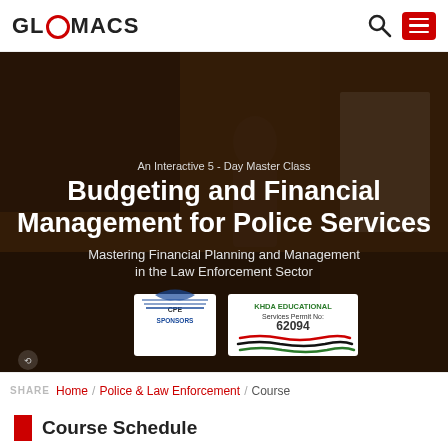GLOMACS
[Figure (screenshot): Hero banner with photo of presenter in a classroom/seminar setting, dark overlay, containing course title and badge logos]
An Interactive 5 - Day Master Class
Budgeting and Financial Management for Police Services
Mastering Financial Planning and Management in the Law Enforcement Sector
SHARE / Home / Police & Law Enforcement / Course
Course Schedule